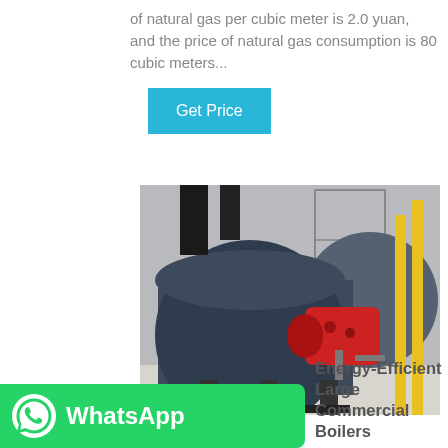of natural gas per cubic meter is 2.0 yuan, and the price of natural gas consumption is 80 cubic meters...
Get Price
[Figure (photo): Industrial gas boilers in a facility. Two large cylindrical blue/grey boilers with a red burner head on the front boiler, yellow vertical pipes on the right, and black piping on top. Floor is light-colored concrete.]
[Figure (logo): WhatsApp logo — green bar with white phone icon and 'WhatsApp' text in white bold]
Energy-Efficient Large Commercial Boilers